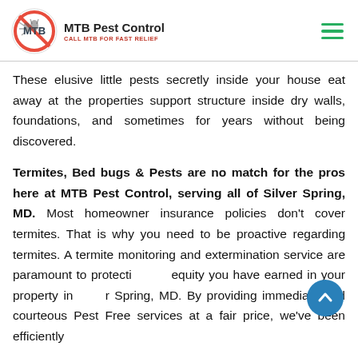MTB Pest Control — CALL MTB FOR FAST RELIEF
These elusive little pests secretly inside your house eat away at the properties support structure inside dry walls, foundations, and sometimes for years without being discovered.
Termites, Bed bugs & Pests are no match for the pros here at MTB Pest Control, serving all of Silver Spring, MD. Most homeowner insurance policies don't cover termites. That is why you need to be proactive regarding termites. A termite monitoring and extermination service are paramount to protecting the equity you have earned in your property in Silver Spring, MD. By providing immediate and courteous Pest Free services at a fair price, we've been efficiently